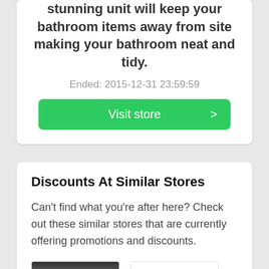stunning unit will keep your bathroom items away from site making your bathroom neat and tidy.
Ended: 2015-12-31 23:59:59
Visit store >
Discounts At Similar Stores
Can't find what you're after here? Check out these similar stores that are currently offering promotions and discounts.
[Figure (screenshot): Thumbnail of a similar store webpage with dark header]
[Figure (screenshot): Thumbnail of a similar store webpage with colorful content]